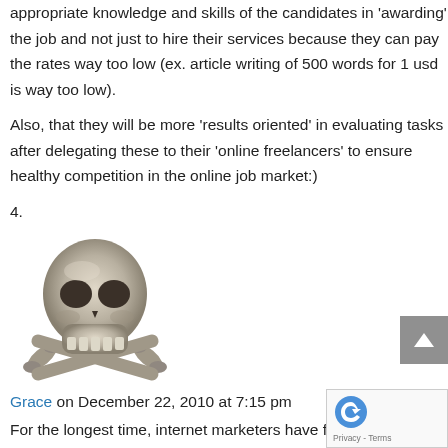appropriate knowledge and skills of the candidates in 'awarding' the job and not just to hire their services because they can pay the rates way too low (ex. article writing of 500 words for 1 usd is way too low).
Also, that they will be more 'results oriented' in evaluating tasks after delegating these to their 'online freelancers' to ensure healthy competition in the online job market:)
4.
[Figure (illustration): Skull and crossbones illustration in metallic/gray tones]
Grace on December 22, 2010 at 7:15 pm
For the longest time, internet marketers have focused on the idea of out tasking rather than real outsourcing. It's about time that many more come to realize that in the long run, outsourcing long term jobs to qualified work...